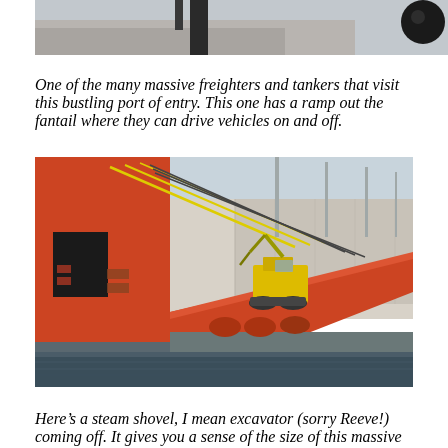[Figure (photo): Top portion of a large freighter or tanker ship with a dark circular object visible at right, cropped at top of page.]
One of the many massive freighters and tankers that visit this bustling port of entry. This one has a ramp out the fantail where they can drive vehicles on and off.
[Figure (photo): A large orange cargo ship with a ramp at its fantail, with a yellow excavator/steam shovel being driven off the ramp onto the dock. A large industrial warehouse building is visible in the background.]
Here’s a steam shovel, I mean excavator (sorry Reeve!) coming off. It gives you a sense of the size of this massive ship!